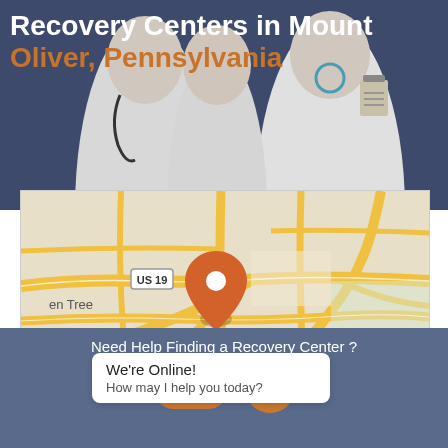Recovery Centers in Mount Oliver, Pennsylvania
[Figure (map): Street map showing area around Mount Oliver, Pennsylvania with orange location pin marker. Shows US Route 19, Dormont neighborhood, and Green Tree area.]
Alliance Medical Services – Ensign II
Need Help Finding a Recovery Center ?
We're Online! How may I help you today?